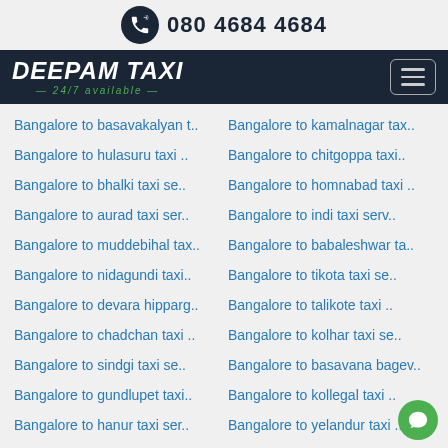080 4684 4684
[Figure (logo): Deepam Taxi logo with 24/7 available tagline on dark navy header bar with hamburger menu button]
Bangalore to basavakalyan t..
Bangalore to kamalnagar tax..
Bangalore to hulasuru taxi ..
Bangalore to chitgoppa taxi..
Bangalore to bhalki taxi se..
Bangalore to homnabad taxi ..
Bangalore to aurad taxi ser..
Bangalore to indi taxi serv..
Bangalore to muddebihal tax..
Bangalore to babaleshwar ta..
Bangalore to nidagundi taxi..
Bangalore to tikota taxi se..
Bangalore to devara hipparg..
Bangalore to talikote taxi ..
Bangalore to chadchan taxi ..
Bangalore to kolhar taxi se..
Bangalore to sindgi taxi se..
Bangalore to basavana bagev..
Bangalore to gundlupet taxi..
Bangalore to kollegal taxi ..
Bangalore to hanur taxi ser..
Bangalore to yelandur taxi ..
Bangalore to bagepalli taxi..
Bangalore to chintamani tax..